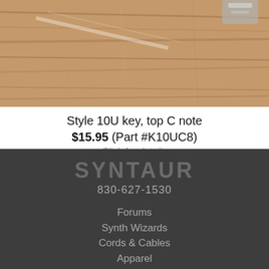[Figure (photo): Close-up photo of a wooden piano key on a wood-grain surface, with a metal mechanism visible at the top right.]
Style 10U key, top C note
$15.95 (Part #K10UC8)
Click for details
SYNTAUR
830-627-1530
Forums
Synth Wizards
Cords & Cables
Apparel
Syntaur DIY